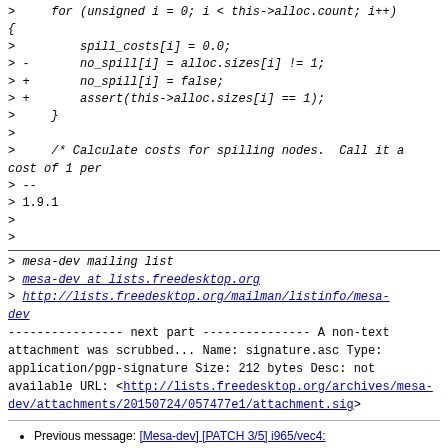> for (unsigned i = 0; i < this->alloc.count; i++)
{
>         spill_costs[i] = 0.0;
> -       no_spill[i] = alloc.sizes[i] != 1;
> +       no_spill[i] = false;
> +       assert(this->alloc.sizes[i] == 1);
>     }
>
>     /* Calculate costs for spilling nodes.  Call it a cost of 1 per
> --
> 1.9.1
>
>
> mesa-dev mailing list
> mesa-dev at lists.freedesktop.org
> http://lists.freedesktop.org/mailman/listinfo/mesa-dev
---------------- next part ---------------
A non-text attachment was scrubbed...
Name: signature.asc
Type: application/pgp-signature
Size: 212 bytes
Desc: not available
URL: <http://lists.freedesktop.org/archives/mesa-dev/attachments/20150724/057477e1/attachment.sig>
Previous message: [Mesa-dev] [PATCH 3/5] i965/vec4: